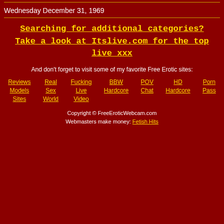Wednesday December 31, 1969
Searching for additional categories? Take a look at Itslive.com for the top live xxx
And don't forget to visit some of my favorite Free Erotic sites:
Reviews Models Sites
Real Sex World
Fucking Live Video
BBW Hardcore
POV Chat
HD Hardcore
Porn Pass
Copyright © FreeEroticWebcam.com Webmasters make money: Fetish Hits